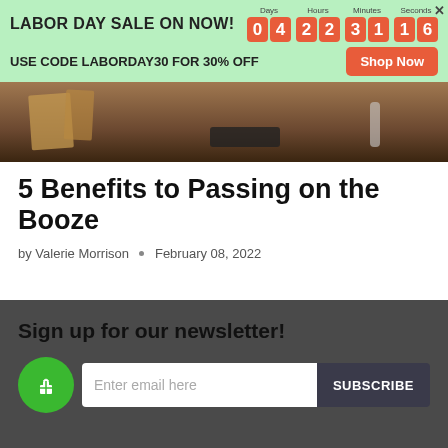LABOR DAY SALE ON NOW! 04 22 31 16 USE CODE LABORDAY30 FOR 30% OFF Shop Now
[Figure (photo): Photo of a room interior with wooden floor and cardboard boxes visible]
5 Benefits to Passing on the Booze
by Valerie Morrison • February 08, 2022
Sign up for our newsletter!
Enter email here  SUBSCRIBE